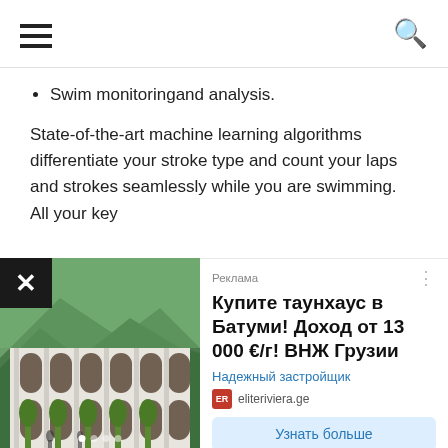Navigation menu and search icon
Swim monitoringand analysis.
State-of-the-art machine learning algorithms differentiate your stroke type and count your laps and strokes seamlessly while you are swimming. All your key
[Figure (photo): Advertisement image of a luxury townhouse complex in Batumi, Georgia, with arched windows and mountain background. Carousel with dots indicator at bottom.]
Реклама
Купите таунхаус в Батуми! Доход от 13 000 €/г! ВНЖ Грузии
Надежный застройщик
eliteriviera.ge
Узнать больше